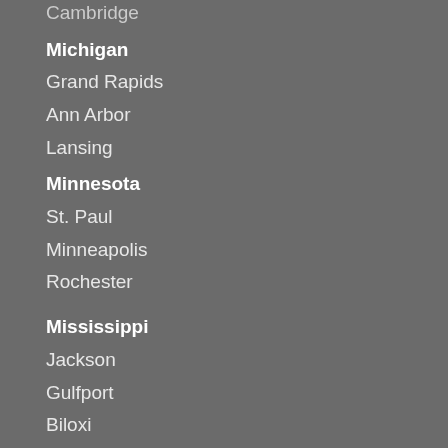Cambridge
Michigan
Grand Rapids
Ann Arbor
Lansing
Minnesota
St. Paul
Minneapolis
Rochester
Mississippi
Jackson
Gulfport
Biloxi